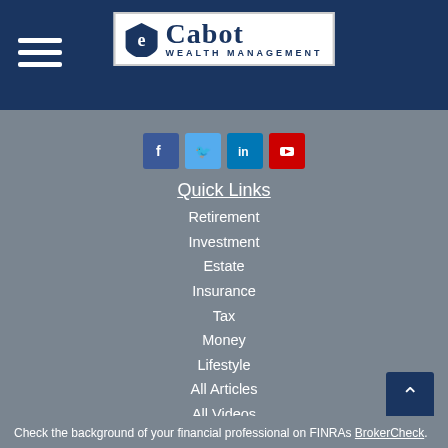[Figure (logo): Cabot Wealth Management logo with shield icon and text on white background, set in dark navy header bar with hamburger menu icon]
[Figure (infographic): Social media icon buttons: Facebook (blue), Twitter (light blue), LinkedIn (blue), YouTube (red)]
Quick Links
Retirement
Investment
Estate
Insurance
Tax
Money
Lifestyle
All Articles
All Videos
All Calculators
All Presentations
Check the background of your financial professional on FINRAs BrokerCheck.